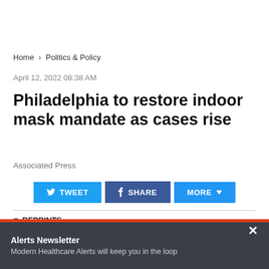Home > Politics & Policy
April 12, 2022 08:38 AM
Philadelphia to restore indoor mask mandate as cases rise
Associated Press
[Figure (screenshot): Social sharing buttons: TWEET, SHARE, MORE with dropdown arrow]
REPRINTS
[Figure (photo): Dark background photo showing white face masks]
Alerts Newsletter
Modern Healthcare Alerts will keep you in the loop